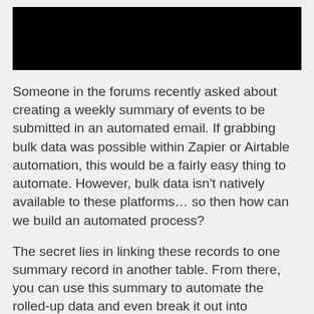[Figure (photo): Black rectangular image/header bar at the top of the page]
Someone in the forums recently asked about creating a weekly summary of events to be submitted in an automated email. If grabbing bulk data was possible within Zapier or Airtable automation, this would be a fairly easy thing to automate. However, bulk data isn't natively available to these platforms… so then how can we build an automated process?
The secret lies in linking these records to one summary record in another table. From there, you can use this summary to automate the rolled-up data and even break it out into subcategories. The final product can be completed without requiring any scripts or custom code. That said, more advanced features could leverage the power of Airtable scripts so that you can bring linked to the same…